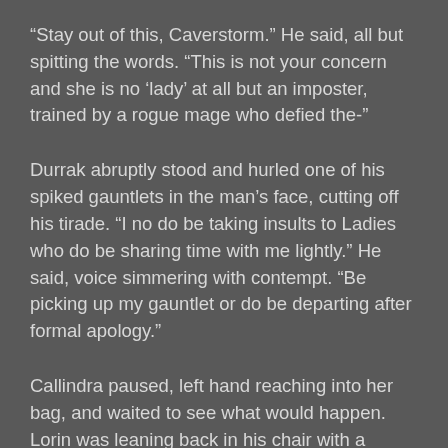“Stay out of this, Caverstorm.”  He said, all but spitting the words.  “This is not your concern and she is no ‘lady’ at all but an imposter, trained by a rogue mage who defied the-”
Durrak abruptly stood and hurled one of his spiked gauntlets in the man’s face, cutting off his tirade.  “I no do be taking insults to Ladies who do be sharing time with me lightly.”  He said, voice simmering with contempt.  “Be picking up my gauntlet or do be departing after formal apology.”
Callindra paused, left hand reaching into her bag, and waited to see what would happen.  Lorin was leaning back in his chair with a boyish grin on his face, watching with apparent glee, but she could see he had his hand on